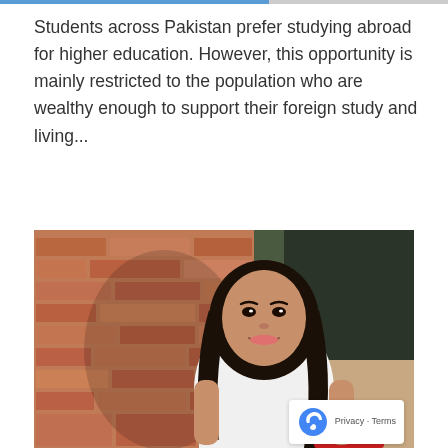Students across Pakistan prefer studying abroad for higher education. However, this opportunity is mainly restricted to the population who are wealthy enough to support their foreign study and living...
[Figure (photo): A young South Asian woman smiling, standing in front of a brick wall, wearing a white top and holding books or a bag with red stripes. Appears to be a student photo.]